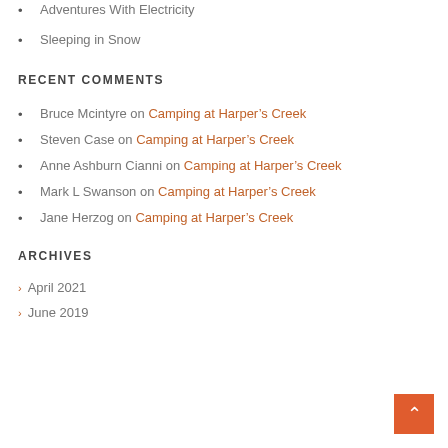Adventures With Electricity
Sleeping in Snow
RECENT COMMENTS
Bruce Mcintyre on Camping at Harper’s Creek
Steven Case on Camping at Harper’s Creek
Anne Ashburn Cianni on Camping at Harper’s Creek
Mark L Swanson on Camping at Harper’s Creek
Jane Herzog on Camping at Harper’s Creek
ARCHIVES
April 2021
June 2019